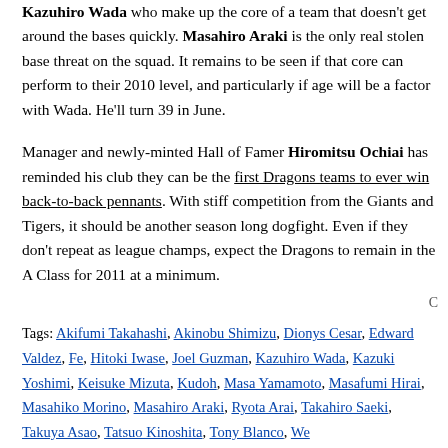Kazuhiro Wada who make up the core of a team that doesn't get around the bases quickly. Masahiro Araki is the only real stolen base threat on the squad. It remains to be seen if that core can perform to their 2010 level, and particularly if age will be a factor with Wada. He'll turn 39 in June.
Manager and newly-minted Hall of Famer Hiromitsu Ochiai has reminded his club they can be the first Dragons teams to ever win back-to-back pennants. With stiff competition from the Giants and Tigers, it should be another season long dogfight. Even if they don't repeat as league champs, expect the Dragons to remain in the A Class for 2011 at a minimum.
Tags: Akifumi Takahashi, Akinobu Shimizu, Dionys Cesar, Edward Valdez, Fe..., Hitoki Iwase, Joel Guzman, Kazuhiro Wada, Kazuki Yoshimi, Keisuke Mizuta..., Kudoh, Masa Yamamoto, Masafumi Hirai, Masahiko Morino, Masahiro Araki, ..., Ryota Arai, Takahiro Saeki, Takuya Asao, Tatsuo Kinoshita, Tony Blanco, We...
Spring & Series: Yokohama Ka...